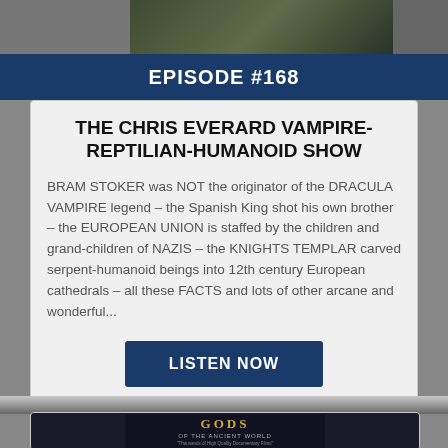[Figure (photo): Top photo strip showing a person at a microphone, partially cropped]
EPISODE #168
THE CHRIS EVERARD VAMPIRE-REPTILIAN-HUMANOID SHOW
BRAM STOKER was NOT the originator of the DRACULA VAMPIRE legend – the Spanish King shot his own brother – the EUROPEAN UNION is staffed by the children and grand-children of NAZIS – the KNIGHTS TEMPLAR carved serpent-humanoid beings into 12th century European cathedrals – all these FACTS and lots of other arcane and wonderful...
LISTEN NOW
AIRED: 01-05-2020
[Figure (photo): Gods of the Ancient World documentary film cover image]